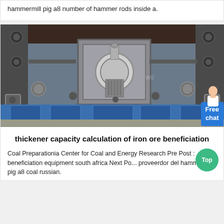hammermill pig a8 number of hammer rods inside a.
[Figure (photo): Industrial machinery photo showing a hammermill or similar heavy equipment with a central cylindrical shaft/rotor assembly mounted in a metal frame, with bolt connections and blue base structure. A 'Free chat' button overlay is visible in the top-right corner.]
thickener capacity calculation of iron ore beneficiation
Coal Preparationia Center for Coal and Energy Research Pre Post : beneficiation equipment south africa Next Po... proveerdor del hammermill pig a8 coal russian.